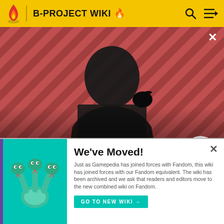B-PROJECT WIKI
[Figure (screenshot): Video banner showing a dark-robed figure with a raven on their shoulder against a red diagonal striped background. Text overlay: WATCH • 01:40, The Sandman Will Keep You Awake - The Loop. Play button in circle on right.]
Kaikan Everyday · Pertama
Kento Aizome · Kento Aizome
[Figure (illustration): Cartoon three-headed snake creature on teal background inside modal panel]
We've Moved!
Just as Gamepedia has joined forces with Fandom, this wiki has joined forces with our Fandom equivalent. The wiki has been archived and we ask that readers and editors move to the new combined wiki on Fandom.
GO TO NEW WIKI →